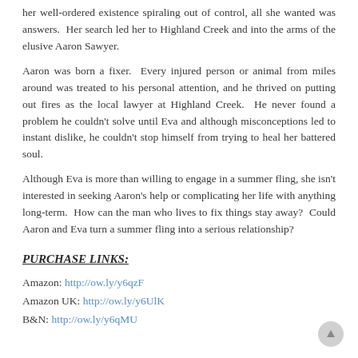her well-ordered existence spiraling out of control, all she wanted was answers.  Her search led her to Highland Creek and into the arms of the elusive Aaron Sawyer.
Aaron was born a fixer.  Every injured person or animal from miles around was treated to his personal attention, and he thrived on putting out fires as the local lawyer at Highland Creek.  He never found a problem he couldn't solve until Eva and although misconceptions led to instant dislike, he couldn't stop himself from trying to heal her battered soul.
Although Eva is more than willing to engage in a summer fling, she isn't interested in seeking Aaron's help or complicating her life with anything long-term.  How can the man who lives to fix things stay away?  Could Aaron and Eva turn a summer fling into a serious relationship?
PURCHASE LINKS:
Amazon: http://ow.ly/y6qzF
Amazon UK: http://ow.ly/y6UlK
B&N: http://ow.ly/y6qMU